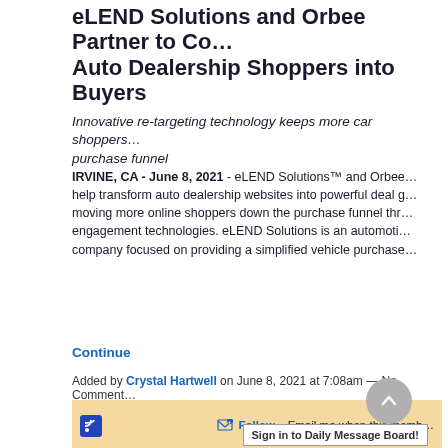eLEND Solutions and Orbee Partner to Co… Auto Dealership Shoppers into Buyers
Innovative re-targeting technology keeps more car shoppers… purchase funnel
IRVINE, CA - June 8, 2021 - eLEND Solutions™ and Orbee… help transform auto dealership websites into powerful deal g… moving more online shoppers down the purchase funnel thr… engagement technologies. eLEND Solutions is an automoti… company focused on providing a simplified vehicle purchase…
Continue
Added by Crystal Hartwell on June 8, 2021 at 7:08am — No Comment…
Follow – Email me when this memb…